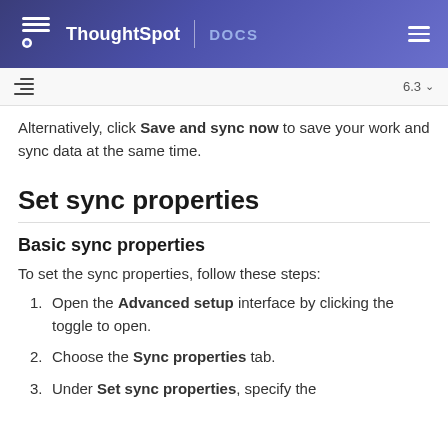ThoughtSpot | DOCS
Alternatively, click Save and sync now to save your work and sync data at the same time.
Set sync properties
Basic sync properties
To set the sync properties, follow these steps:
1. Open the Advanced setup interface by clicking the toggle to open.
2. Choose the Sync properties tab.
3. Under Set sync properties, specify the